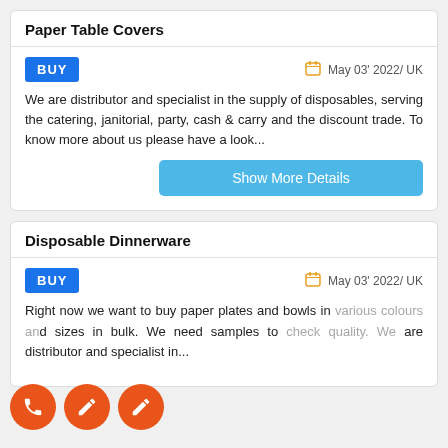Paper Table Covers
BUY   May 03' 2022/ UK
We are distributor and specialist in the supply of disposables, serving the catering, janitorial, party, cash & carry and the discount trade. To know more about us please have a look...
Show More Details
Disposable Dinnerware
BUY   May 03' 2022/ UK
Right now we want to buy paper plates and bowls in various colours and sizes in bulk. We need samples to check quality. We are distributor and specialist in...